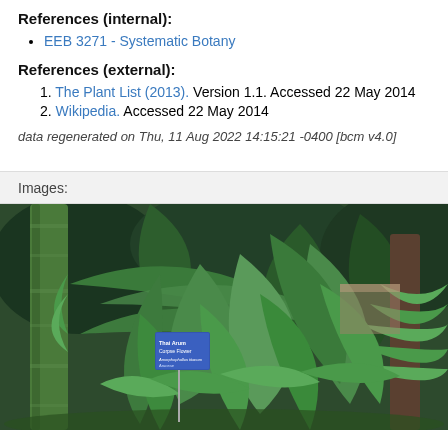References (internal):
EEB 3271 - Systematic Botany
References (external):
1. The Plant List (2013). Version 1.1. Accessed 22 May 2014
2. Wikipedia. Accessed 22 May 2014
data regenerated on Thu, 11 Aug 2022 14:15:21 -0400 [bcm v4.0]
Images:
[Figure (photo): Photograph of a botanical garden greenhouse scene with dense tropical foliage including large-leaved plants, ferns, and trees. A blue plant identification sign is visible in the foreground on a metal stake.]